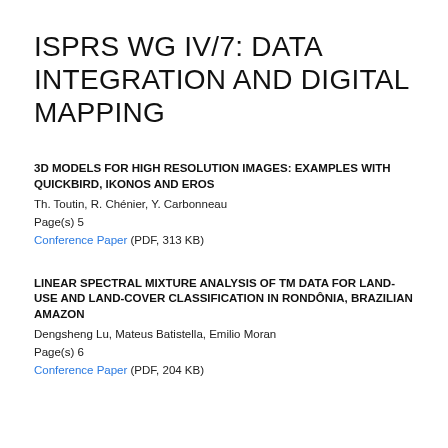ISPRS WG IV/7: DATA INTEGRATION AND DIGITAL MAPPING
3D MODELS FOR HIGH RESOLUTION IMAGES: EXAMPLES WITH QUICKBIRD, IKONOS AND EROS
Th. Toutin, R. Chénier, Y. Carbonneau
Page(s) 5
Conference Paper (PDF, 313 KB)
LINEAR SPECTRAL MIXTURE ANALYSIS OF TM DATA FOR LAND-USE AND LAND-COVER CLASSIFICATION IN RONDÔNIA, BRAZILIAN AMAZON
Dengsheng Lu, Mateus Batistella, Emilio Moran
Page(s) 6
Conference Paper (PDF, 204 KB)